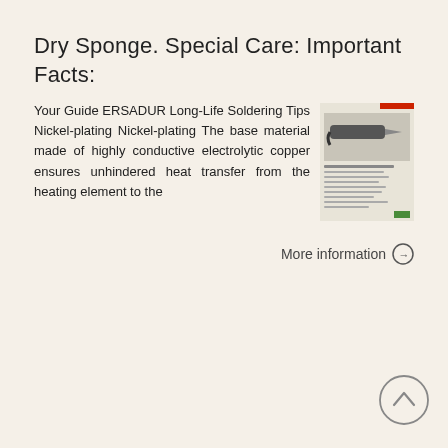Dry Sponge. Special Care: Important Facts:
Your Guide ERSADUR Long-Life Soldering Tips Nickel-plating Nickel-plating The base material made of highly conductive electrolytic copper ensures unhindered heat transfer from the heating element to the
[Figure (photo): Thumbnail image of ERSADUR Long-Life Soldering Tips product document showing a soldering iron tip and text.]
More information →